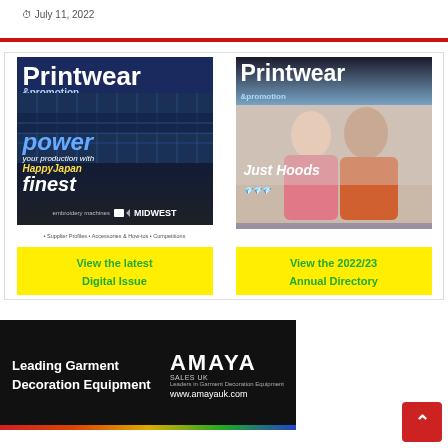July 11, 2022
[Figure (illustration): Two Printwear & Promotion magazine covers side by side in a bordered container. Left cover shows a dark blue magazine with embroidery machine and text 'power your production with HappyJapan finest embroidery machines' by MIDWEST, with a yellow 'View the latest Digital Issue' CTA. Right cover shows the 2022/23 Annual Directory with two models in hoodies and 'Just Hoods' branding, with a yellow 'View the 2022/23 Annual Directory' CTA.]
[Figure (illustration): Amaya banner advertisement: black background, text 'Leading Garment Decoration Equipment', AMAYA logo, tagline 'Leaders in Garment Decoration Equipment', website www.amayauk.com]